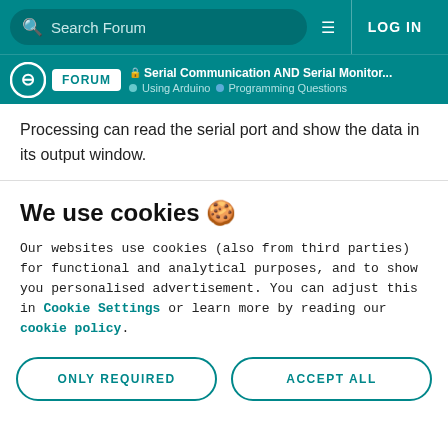Search Forum | LOG IN
Serial Communication AND Serial Monitor... | Using Arduino | Programming Questions
Processing can read the serial port and show the data in its output window.
We use cookies 🍪
Our websites use cookies (also from third parties) for functional and analytical purposes, and to show you personalised advertisement. You can adjust this in Cookie Settings or learn more by reading our cookie policy.
ONLY REQUIRED | ACCEPT ALL